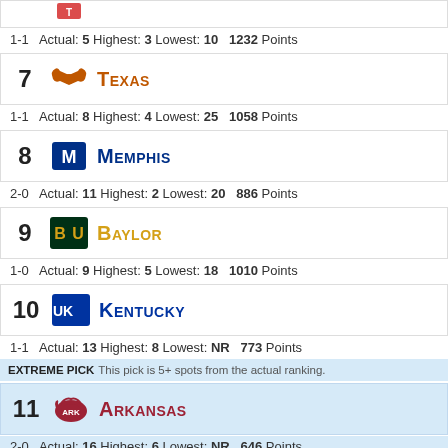1-1  Actual: 5 Highest: 3 Lowest: 10  1232 Points
7  Texas
1-1  Actual: 8 Highest: 4 Lowest: 25  1058 Points
8  Memphis
2-0  Actual: 11 Highest: 2 Lowest: 20  886 Points
9  Baylor
1-0  Actual: 9 Highest: 5 Lowest: 18  1010 Points
10  Kentucky
1-1  Actual: 13 Highest: 8 Lowest: NR  773 Points
EXTREME PICK  This pick is 5+ spots from the actual ranking.
11  Arkansas
2-0  Actual: 16 Highest: 6 Lowest: NR  646 Points